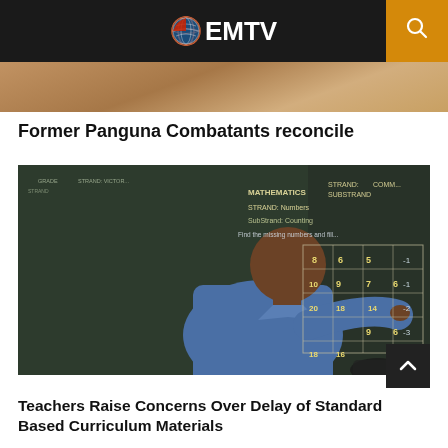EMTV
[Figure (photo): Partial image visible at top of page, appears to be a person writing or working at a desk, cropped.]
Former Panguna Combatants reconcile
[Figure (photo): A teacher in a blue shirt writing on a blackboard. The blackboard shows mathematics lesson content including 'STRAND: Numbers', 'SubStrand: Counting', 'Find the missing numbers and fill...' with a grid of numbers. Text on board includes MATHEMATICS, STRAND, SUBSTRAND, COMMUNITY.]
Teachers Raise Concerns Over Delay of Standard Based Curriculum Materials